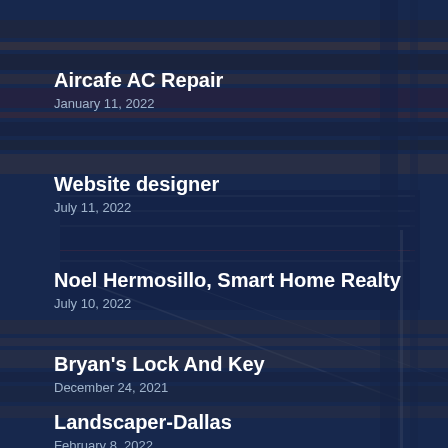[Figure (photo): Dark blue tinted architectural photo of a building with horizontal striped facade visible in the background]
Aircafe AC Repair
January 11, 2022
Website designer
July 11, 2022
Noel Hermosillo, Smart Home Realty
July 10, 2022
Bryan's Lock And Key
December 24, 2021
Landscaper-Dallas
February 8, 2022